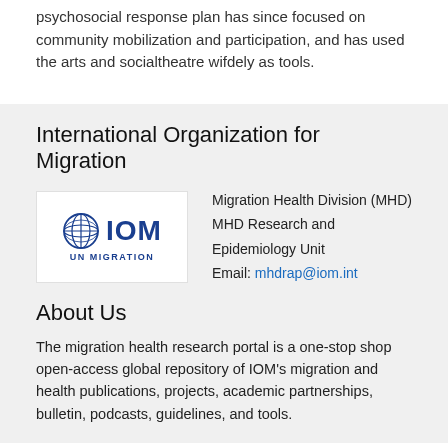psychosocial response plan has since focused on community mobilization and participation, and has used the arts and socialtheatre wifdely as tools.
International Organization for Migration
[Figure (logo): IOM UN Migration logo — globe icon with IOM text and UN MIGRATION subtitle in blue]
Migration Health Division (MHD)
MHD Research and Epidemiology Unit
Email: mhdrap@iom.int
About Us
The migration health research portal is a one-stop shop open-access global repository of IOM's migration and health publications, projects, academic partnerships, bulletin, podcasts, guidelines, and tools.